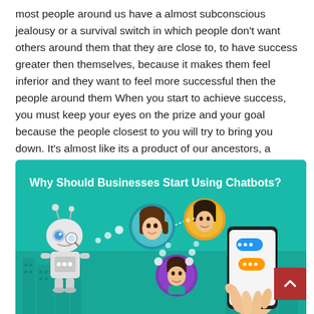most people around us have a almost subconscious jealousy or a survival switch in which people don't want others around them that they are close to, to have success greater then themselves, because it makes them feel inferior and they want to feel more successful then the people around them When you start to achieve success, you must keep your eyes on the prize and your goal because the people closest to you will try to bring you down. It's almost like its a product of our ancestors, a survivalist, being the best, kind of competition mode.
[Figure (infographic): Infographic with teal background titled 'Why Should Businesses Start Using Chatbots?' featuring a robot character on the left, three circular avatar portraits of people in the center connected by dotted speech bubble lines, and a hand holding a smartphone displaying chat bubbles on the right. City skyline silhouette in the background.]